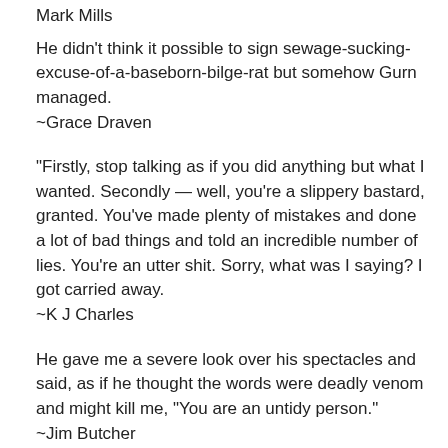Mark Mills
He didn't think it possible to sign sewage-sucking-excuse-of-a-baseborn-bilge-rat but somehow Gurn managed.
~Grace Draven
“Firstly, stop talking as if you did anything but what I wanted. Secondly — well, you’re a slippery bastard, granted. You’ve made plenty of mistakes and done a lot of bad things and told an incredible number of lies. You’re an utter shit. Sorry, what was I saying? I got carried away.
~K J Charles
He gave me a severe look over his spectacles and said, as if he thought the words were deadly venom and might kill me, “You are an untidy person.”
~Jim Butcher